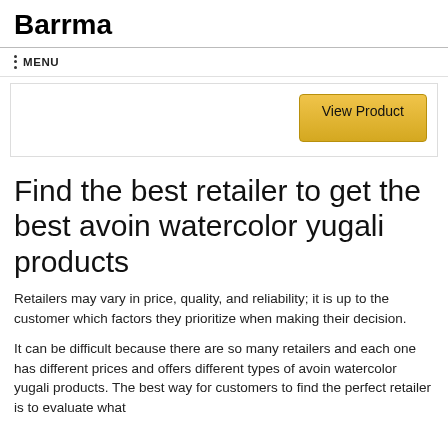Barrma
☰ MENU
[Figure (screenshot): Product card with a gold 'View Product' button on the right side]
Find the best retailer to get the best avoin watercolor yugali products
Retailers may vary in price, quality, and reliability; it is up to the customer which factors they prioritize when making their decision.
It can be difficult because there are so many retailers and each one has different prices and offers different types of avoin watercolor yugali products. The best way for customers to find the perfect retailer is to evaluate what